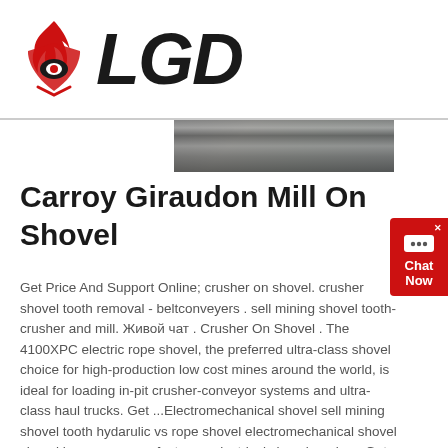[Figure (logo): LGD company logo with red flame/shield icon and bold italic LGD text]
[Figure (photo): Partial photo of industrial/mining equipment or landscape, cropped strip]
Carroy Giraudon Mill On Shovel
Get Price And Support Online; crusher on shovel. crusher shovel tooth removal - beltconveyers . sell mining shovel tooth-crusher and mill. Живой чат . Crusher On Shovel . The 4100XPC electric rope shovel, the preferred ultra-class shovel choice for high-production low cost mines around the world, is ideal for loading in-pit crusher-conveyor systems and ultra-class haul trucks. Get ...Electromechanical shovel sell mining shovel tooth hydarulic vs rope shovel electromechanical shovel shovel hammers manufacturers electrical shovel marion . Get Price; Shovels and